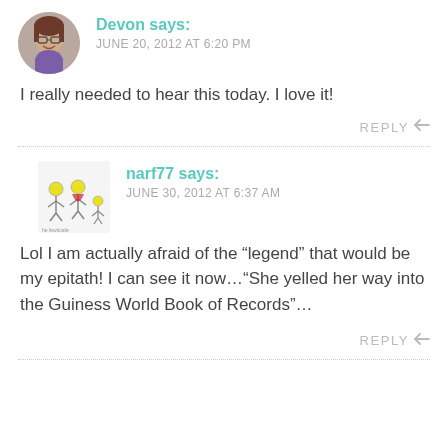[Figure (photo): Circular avatar photo of Devon, a woman with glasses and purple top]
Devon says:
JUNE 20, 2012 AT 6:20 PM
I really needed to hear this today. I love it!
REPLY
[Figure (illustration): Small cartoon avatar for narf77 showing cartoon characters]
narf77 says:
JUNE 30, 2012 AT 6:37 AM
Lol I am actually afraid of the “legend” that would be my epitath! I can see it now…“She yelled her way into the Guiness World Book of Records”…
REPLY